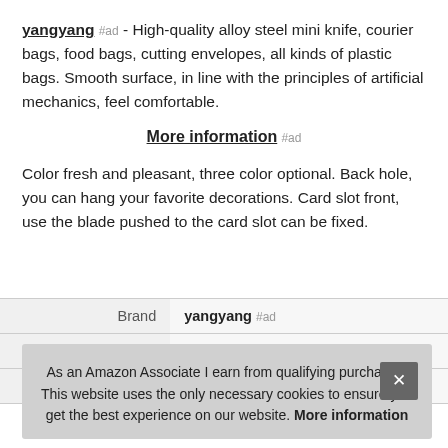yangyang #ad - High-quality alloy steel mini knife, courier bags, food bags, cutting envelopes, all kinds of plastic bags. Smooth surface, in line with the principles of artificial mechanics, feel comfortable.
More information #ad
Color fresh and pleasant, three color optional. Back hole, you can hang your favorite decorations. Card slot front, use the blade pushed to the card slot can be fixed.
|  |  |
| --- | --- |
| Brand | yangyang #ad |
| Ma |  |
| P |  |
As an Amazon Associate I earn from qualifying purchases. This website uses the only necessary cookies to ensure you get the best experience on our website. More information